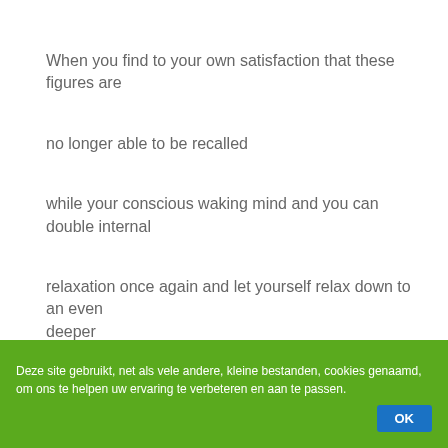When you find to your own satisfaction that these figures are
no longer able to be recalled
while your conscious waking mind and you can double internal
relaxation once again and let yourself relax down to an even deeper
state of mindful serenity
and I suggest you now.
that you can also imagine that your eyes are relaxed,
Deze site gebruikt, net als vele andere, kleine bestanden, cookies genaamd, om ons te helpen uw ervaring te verbeteren en aan te passen.